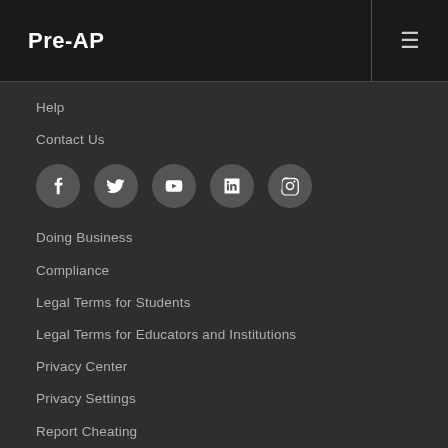Pre-AP
Help
Contact Us
[Figure (infographic): Row of 5 social media icons: Facebook, Twitter, YouTube, LinkedIn, Instagram]
Doing Business
Compliance
Legal Terms for Students
Legal Terms for Educators and Institutions
Privacy Center
Privacy Settings
Report Cheating